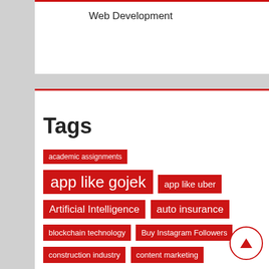Web Development
Tags
academic assignments
app like gojek
app like uber
Artificial Intelligence
auto insurance
blockchain technology
Buy Instagram Followers
construction industry
content marketing
Dental Implants
digital marketing
digital transformation
Facebook customer service
financial markets
Food Delivery App